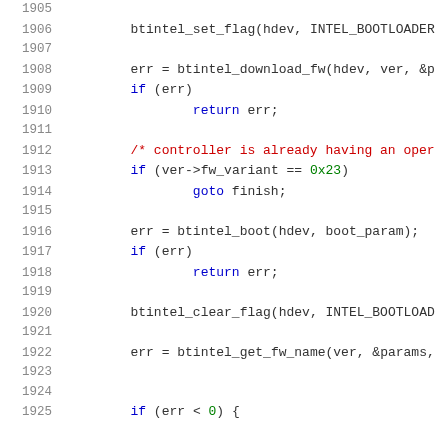[Figure (screenshot): Source code listing lines 1905-1925 of a C file showing Bluetooth Intel firmware boot sequence. Lines show btintel_set_flag, btintel_download_fw, error checking, controller variant check, btintel_boot, btintel_clear_flag, btintel_get_fw_name calls.]